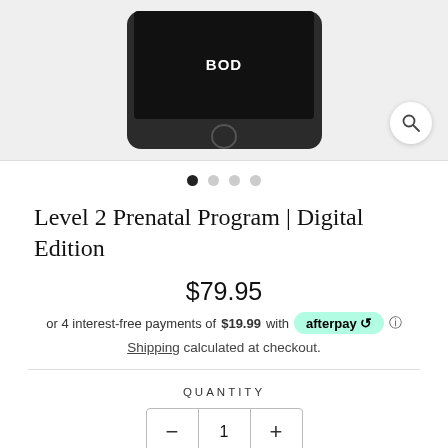[Figure (screenshot): Product image of a tablet device showing 'BOD' text on screen, displayed against a light gray background with a magnifying glass icon in the bottom right corner]
● ○ ○ ○
Level 2 Prenatal Program | Digital Edition
$79.95
or 4 interest-free payments of $19.99 with afterpay ⓘ
Shipping calculated at checkout.
QUANTITY
− 1 +
ADD TO CART